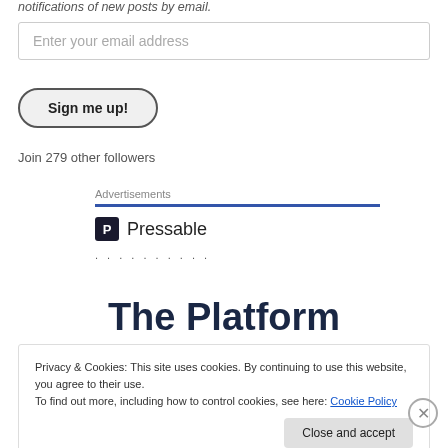notifications of new posts by email.
Enter your email address
Sign me up!
Join 279 other followers
Advertisements
[Figure (logo): Pressable logo with P icon and text 'Pressable' followed by dotted line]
The Platform
Privacy & Cookies: This site uses cookies. By continuing to use this website, you agree to their use.
To find out more, including how to control cookies, see here: Cookie Policy
Close and accept